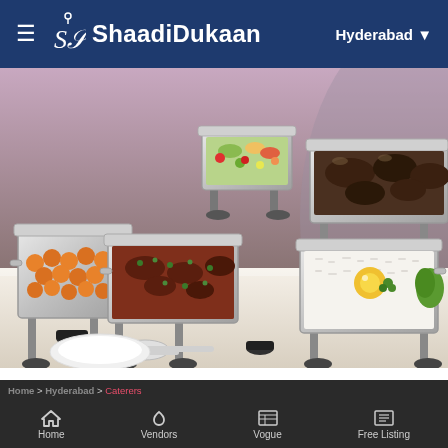ShaadiDukaan — Hyderabad
[Figure (photo): Catering buffet with multiple chafing dishes containing various Indian foods including orange fried snacks, curries, rice, and garnished dishes on a white tablecloth]
City ▾   Category ▾
Free Quotation
r Name..
Home  Vendors  Vogue  Free Listing
Home > Hyderabad > Caterers